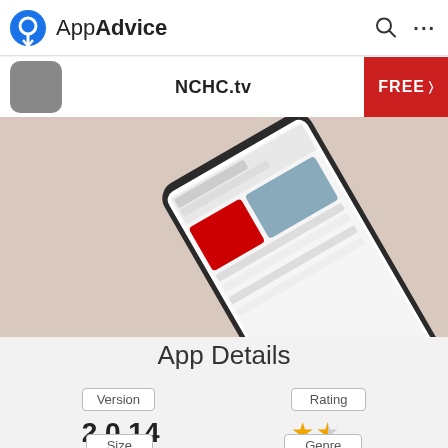AppAdvice
NCHC.tv
FREE
[Figure (screenshot): Screenshot of a smartphone showing the NCHC.tv app interface, displayed at an angle on a light beige/pink background]
App Details
Version
2.0.14
Rating
2 stars (67)